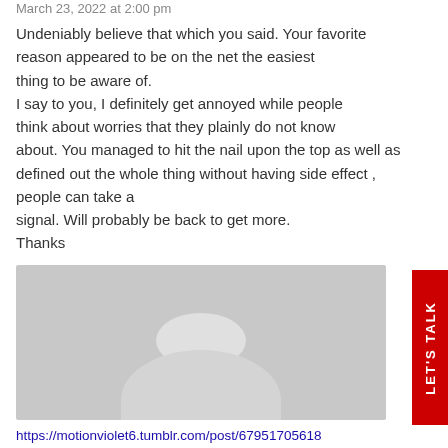March 23, 2022 at 2:00 pm
Undeniably believe that which you said. Your favorite reason appeared to be on the net the easiest thing to be aware of. I say to you, I definitely get annoyed while people think about worries that they plainly do not know about. You managed to hit the nail upon the top as well as defined out the whole thing without having side effect , people can take a signal. Will probably be back to get more. Thanks
[Figure (photo): Default avatar placeholder image with gray background showing silhouette of a person]
https://motionviolet6.tumblr.com/post/67951705618 less-extra-with-free-ebook says: